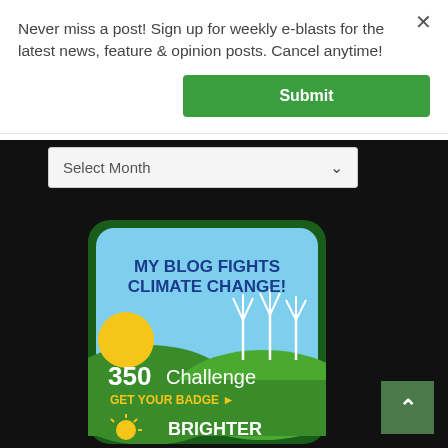Never miss a post! Sign up for weekly e-blasts for the latest news, feature & opinion posts. Cancel anytime!
Submit
Select Month
[Figure (photo): A blog badge/patch with the text 'MY BLOG FIGHTS CLIMATE CHANGE! 350 Challenge GET YOUR BADGE' with images of a sun, green hills, and wind turbines. Below partially visible text 'BRIGHTER'.]
^